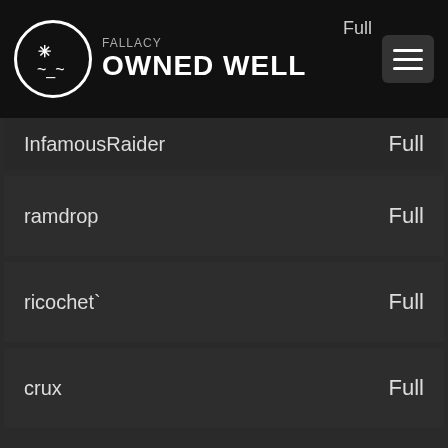FALLACY | OWNED WELL
InfamousRaider — Full
ramdrop — Full
ricochet` — Full
crux — Full
Blimpo — Full
-inceptoS- — Full
Infra` — Full
dooi — Full